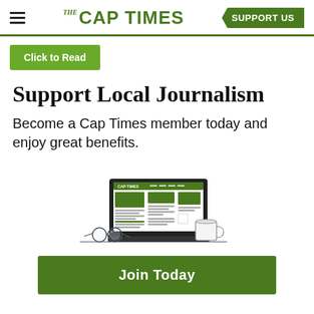THE CAP TIMES | SUPPORT US
Click to Read
Support Local Journalism
Become a Cap Times member today and enjoy great benefits.
[Figure (illustration): Illustration of a laptop displaying the Cap Times website with newspaper layout in green and white, alongside a coffee mug and a pair of glasses on a desk.]
Join Today